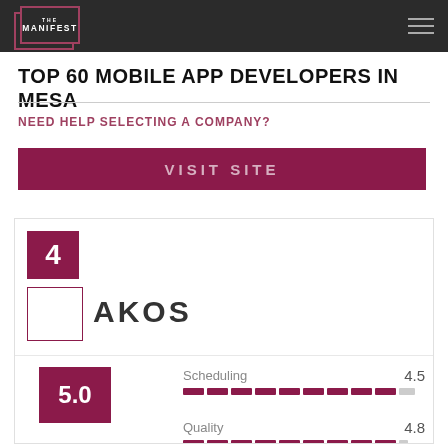THE MANIFEST
TOP 60 MOBILE APP DEVELOPERS IN MESA
NEED HELP SELECTING A COMPANY?
VISIT SITE
4
AKOS
[Figure (infographic): Rating rows for Scheduling (4.5) and Quality (4.8) with progress bar segments and overall score badge showing 5.0]
5.0